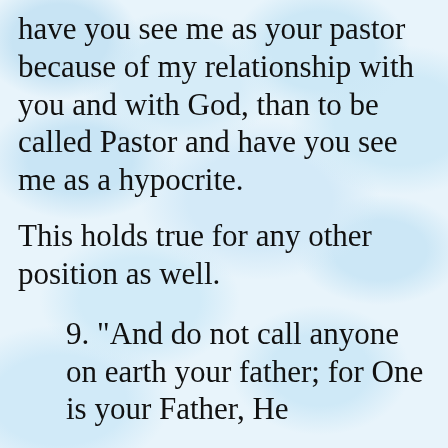have you see me as your pastor because of my relationship with you and with God, than to be called Pastor and have you see me as a hypocrite.
This holds true for any other position as well.
9. "And do not call anyone on earth your father; for One is your Father, He